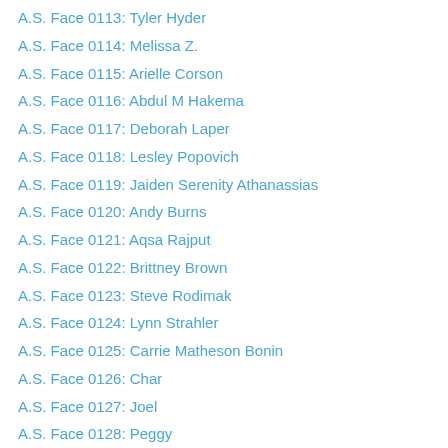A.S. Face 0113: Tyler Hyder
A.S. Face 0114: Melissa Z.
A.S. Face 0115: Arielle Corson
A.S. Face 0116: Abdul M Hakema
A.S. Face 0117: Deborah Laper
A.S. Face 0118: Lesley Popovich
A.S. Face 0119: Jaiden Serenity Athanassias
A.S. Face 0120: Andy Burns
A.S. Face 0121: Aqsa Rajput
A.S. Face 0122: Brittney Brown
A.S. Face 0123: Steve Rodimak
A.S. Face 0124: Lynn Strahler
A.S. Face 0125: Carrie Matheson Bonin
A.S. Face 0126: Char
A.S. Face 0127: Joel
A.S. Face 0128: Peggy
A.S. Face 0129: Gilly Hayes-Andersen
A.S. Face 0130:Charity Thomas Schofield Patterson
A.S. Face 0131: Nicola Egdell
A.S. Face 0132: James D...